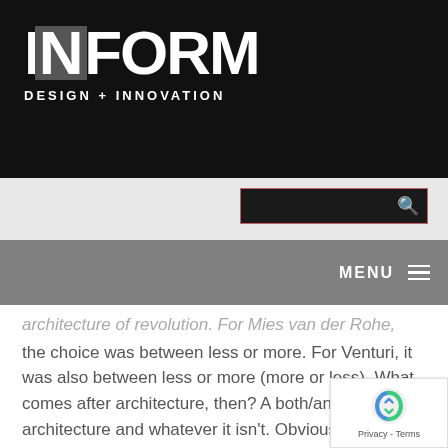[Figure (logo): INFORM Design + Innovation logo on black background with grey square behind the N]
[Figure (other): Search box with magnifying glass icon, dark background with salmon/red border]
[Figure (other): Grey navigation bar with MENU label and hamburger icon on right side]
architecture of revolution. For Mies van der Rohe, the choice was between less or more. For Venturi, it was also between less or more (more or less). What comes after architecture, then? A both/and plurality of architecture and whatever it isn't. Obviously. (Venturi would approve.)
More »
Posted in Architecture, Arts & Culture, Design